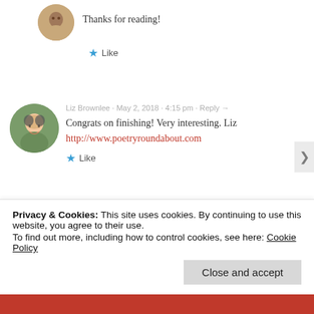Thanks for reading!
Like
Liz Brownlee · May 2, 2018 · 4:15 pm · Reply →
Congrats on finishing! Very interesting. Liz
http://www.poetryroundabout.com
Like
raesquiggles · May 3, 2018 · 9:00 am · Reply →
Thank you!
Privacy & Cookies: This site uses cookies. By continuing to use this website, you agree to their use.
To find out more, including how to control cookies, see here: Cookie Policy
Close and accept